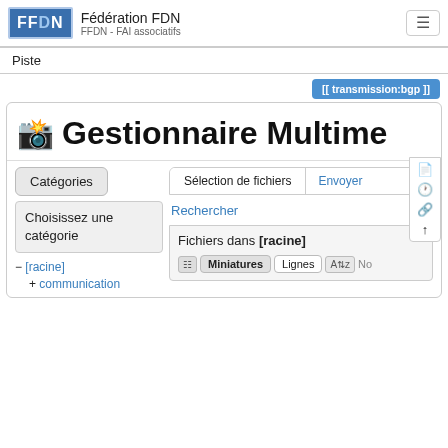Fédération FDN — FFDN - FAI associatifs
Piste
[[ transmission:bgp ]]
Gestionnaire Multime…
Sélection de fichiers   Envoyer
Rechercher
Catégories
Choisissez une catégorie
⊟ [racine]
⊞ communication
Fichiers dans [racine]
Miniatures  Lignes  No…